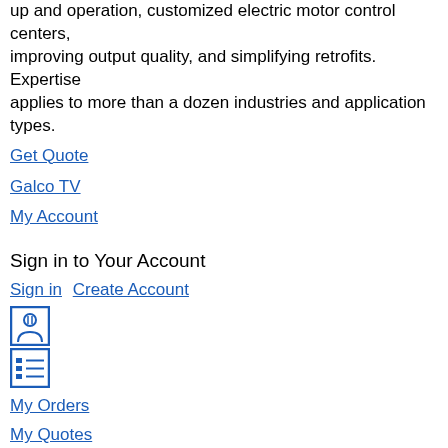up and operation, customized electric motor control centers, improving output quality, and simplifying retrofits. Expertise applies to more than a dozen industries and application types.
Get Quote
Galco TV
My Account
Sign in to Your Account
Sign in | Create Account
[Figure (other): Person/account icon in a blue-bordered box]
[Figure (other): List/orders icon in a blue-bordered box]
My Orders
My Quotes
All Products
Rittal
Rittal
Selected Filters
Clear All